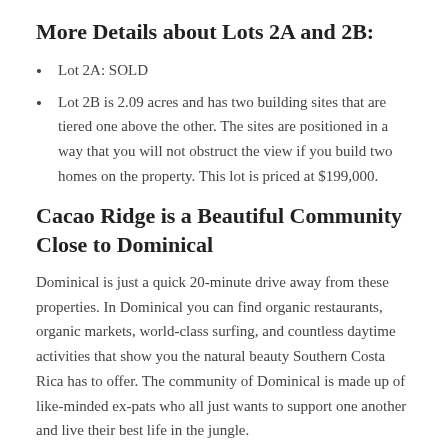More Details about Lots 2A and 2B:
Lot 2A: SOLD
Lot 2B is 2.09 acres and has two building sites that are tiered one above the other. The sites are positioned in a way that you will not obstruct the view if you build two homes on the property. This lot is priced at $199,000.
Cacao Ridge is a Beautiful Community Close to Dominical
Dominical is just a quick 20-minute drive away from these properties. In Dominical you can find organic restaurants, organic markets, world-class surfing, and countless daytime activities that show you the natural beauty Southern Costa Rica has to offer. The community of Dominical is made up of like-minded ex-pats who all just wants to support one another and live their best life in the jungle.